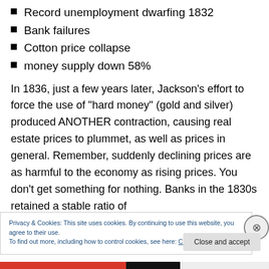Record unemployment dwarfing 1832
Bank failures
Cotton price collapse
money supply down 58%
In 1836, just a few years later, Jackson’s effort to force the use of “hard money” (gold and silver) produced ANOTHER contraction, causing real estate prices to plummet, as well as prices in general. Remember, suddenly declining prices are as harmful to the economy as rising prices. You don’t get something for nothing. Banks in the 1830s retained a stable ratio of
Privacy & Cookies: This site uses cookies. By continuing to use this website, you agree to their use.
To find out more, including how to control cookies, see here: Cookie Policy